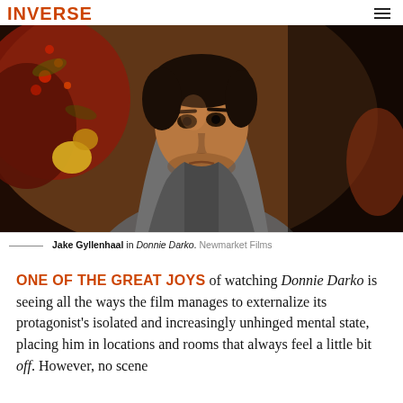INVERSE
[Figure (photo): Jake Gyllenhaal as Donnie Darko, wearing a grey hoodie, looking intensely at camera, surrounded by colorful foliage in dark surroundings.]
Jake Gyllenhaal in Donnie Darko. Newmarket Films
ONE OF THE GREAT JOYS of watching Donnie Darko is seeing all the ways the film manages to externalize its protagonist's isolated and increasingly unhinged mental state, placing him in locations and rooms that always feel a little bit off. However, no scene